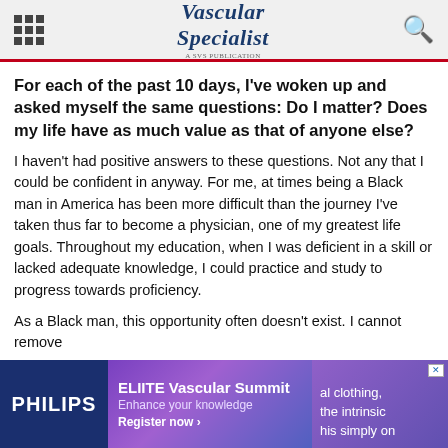Vascular Specialist
For each of the past 10 days, I've woken up and asked myself the same questions: Do I matter? Does my life have as much value as that of anyone else?
I haven't had positive answers to these questions. Not any that I could be confident in anyway. For me, at times being a Black man in America has been more difficult than the journey I've taken thus far to become a physician, one of my greatest life goals. Throughout my education, when I was deficient in a skill or lacked adequate knowledge, I could practice and study to progress towards proficiency.
As a Black man, this opportunity often doesn't exist. I cannot remove
[Figure (screenshot): Advertisement banner for ELIITE Vascular Summit by Philips. Left section: dark blue background with PHILIPS logo in white. Middle section: purple gradient with text 'ELIITE Vascular Summit', 'Enhance your knowledge', 'Register now ›'. Right section: purple/blue gradient with partial text 'al clothing,', 'the intrinsic', 'his simply on' visible.]